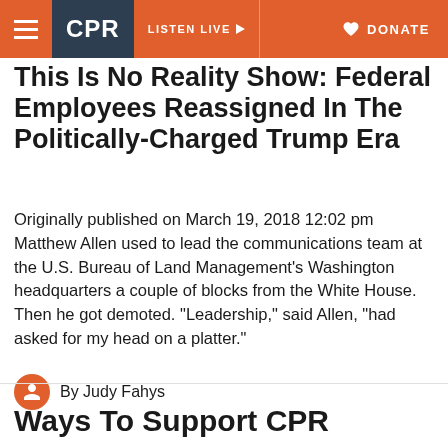CPR | LISTEN LIVE | DONATE
This Is No Reality Show: Federal Employees Reassigned In The Politically-Charged Trump Era
Originally published on March 19, 2018 12:02 pm Matthew Allen used to lead the communications team at the U.S. Bureau of Land Management’s Washington headquarters a couple of blocks from the White House. Then he got demoted. “Leadership,” said Allen, “had asked for my head on a platter.”
By Judy Fahys
Ways To Support CPR